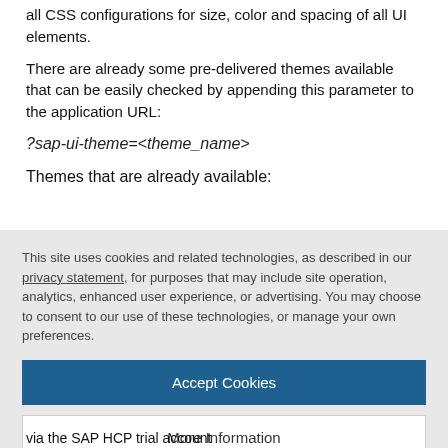all CSS configurations for size, color and spacing of all UI elements.
There are already some pre-delivered themes available that can be easily checked by appending this parameter to the application URL:
Themes that are already available:
This site uses cookies and related technologies, as described in our privacy statement, for purposes that may include site operation, analytics, enhanced user experience, or advertising. You may choose to consent to our use of these technologies, or manage your own preferences.
Accept Cookies
More Information
Privacy Policy | Powered by: TrustArc
via the SAP HCP trial account